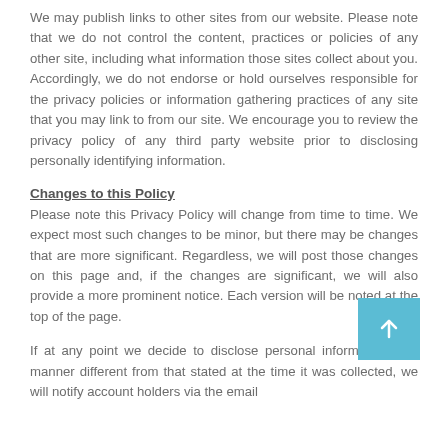We may publish links to other sites from our website. Please note that we do not control the content, practices or policies of any other site, including what information those sites collect about you. Accordingly, we do not endorse or hold ourselves responsible for the privacy policies or information gathering practices of any site that you may link to from our site. We encourage you to review the privacy policy of any third party website prior to disclosing personally identifying information.
Changes to this Policy
Please note this Privacy Policy will change from time to time. We expect most such changes to be minor, but there may be changes that are more significant. Regardless, we will post those changes on this page and, if the changes are significant, we will also provide a more prominent notice. Each version will be noted at the top of the page.
If at any point we decide to disclose personal information in a manner different from that stated at the time it was collected, we will notify account holders via the email